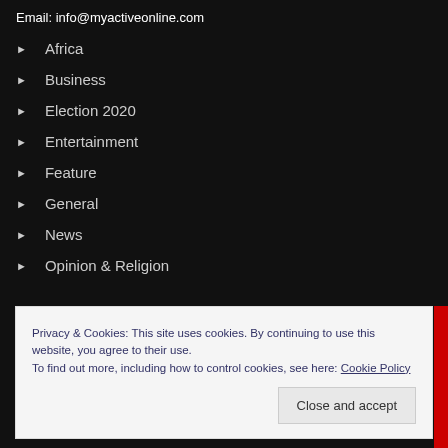Email: info@myactiveonline.com
Africa
Business
Election 2020
Entertainment
Feature
General
News
Opinion & Religion
Privacy & Cookies: This site uses cookies. By continuing to use this website, you agree to their use.
To find out more, including how to control cookies, see here: Cookie Policy
Close and accept
Videos